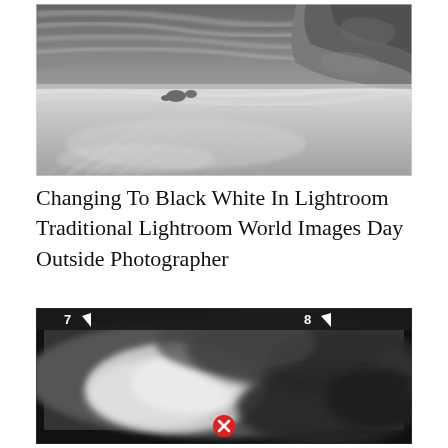[Figure (photo): Black and white long-exposure photograph of a rocky coastal beach scene with dramatic cloudy sky and motion-blurred waves and wet sand]
Changing To Black White In Lightroom Traditional Lightroom World Images Day Outside Photographer
[Figure (photo): Black and white photograph of dramatic storm clouds with a dark interface overlay showing track numbers 7 and 8 with play/back arrows, and a red X button at the bottom center]